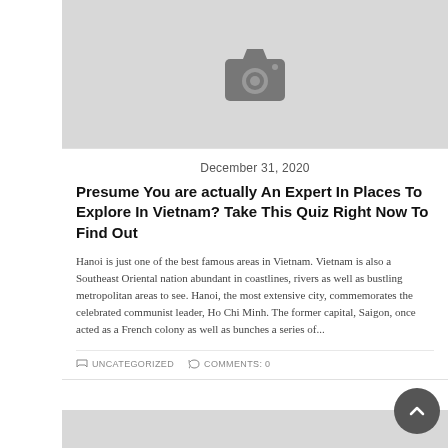[Figure (photo): Gray placeholder image with a camera icon, representing a blog post thumbnail]
December 31, 2020
Presume You are actually An Expert In Places To Explore In Vietnam? Take This Quiz Right Now To Find Out
Hanoi is just one of the best famous areas in Vietnam. Vietnam is also a Southeast Oriental nation abundant in coastlines, rivers as well as bustling metropolitan areas to see. Hanoi, the most extensive city, commemorates the celebrated communist leader, Ho Chi Minh. The former capital, Saigon, once acted as a French colony as well as bunches a series of...
UNCATEGORIZED   COMMENTS: 0
[Figure (photo): Bottom portion of another gray placeholder blog post image]